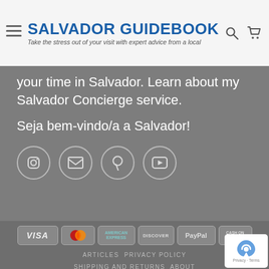SALVADOR GUIDEBOOK — Take the stress out of your visit with expert advice from a local
your time in Salvador. Learn about my Salvador Concierge service.
Seja bem-vindo/a a Salvador!
[Figure (infographic): Social media icons: Instagram, Email, Pinterest, YouTube — circular outlined buttons]
[Figure (infographic): Payment method logos: VISA, MasterCard, American Express, Discover, PayPal, Cash on Pickup]
ARTICLES  PRIVACY POLICY  SHIPPING AND RETURNS  ABOUT
Copyright 2022 © Salvador Guidebook